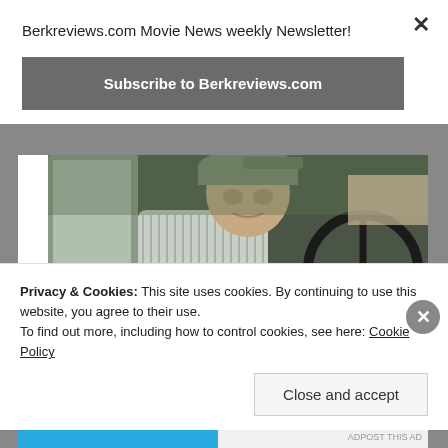Berkreviews.com Movie News weekly Newsletter!
Subscribe to Berkreviews.com
[Figure (screenshot): Screenshot of a webpage showing a movie still from what appears to be The Mule, with an elderly man in a cap sitting in a truck cab looking at something in his hands]
Privacy & Cookies: This site uses cookies. By continuing to use this website, you agree to their use.
To find out more, including how to control cookies, see here: Cookie Policy
Close and accept